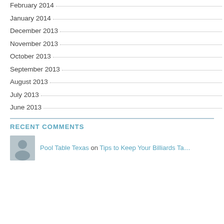February 2014
January 2014
December 2013
November 2013
October 2013
September 2013
August 2013
July 2013
June 2013
RECENT COMMENTS
Pool Table Texas on Tips to Keep Your Billiards Ta…